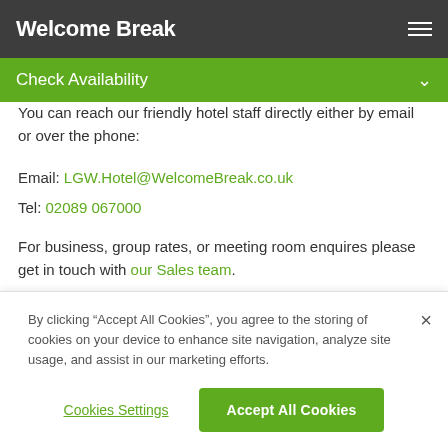Welcome Break
Check Availability
You can reach our friendly hotel staff directly either by email or over the phone:
Email: LGW.Hotel@WelcomeBreak.co.uk
Tel: 02089 067000
For business, group rates, or meeting room enquires please get in touch with our Sales team.
By clicking “Accept All Cookies”, you agree to the storing of cookies on your device to enhance site navigation, analyze site usage, and assist in our marketing efforts.
Cookies Settings
Accept All Cookies